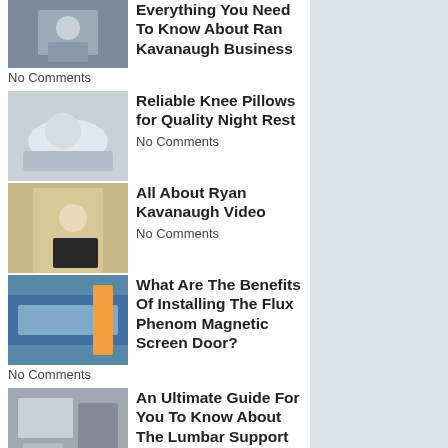Everything You Need To Know About Ran Kavanaugh Business
No Comments
Reliable Knee Pillows for Quality Night Rest
No Comments
All About Ryan Kavanaugh Video
No Comments
What Are The Benefits Of Installing The Flux Phenom Magnetic Screen Door?
No Comments
An Ultimate Guide For You To Know About The Lumbar Support Office Chair
No Comments